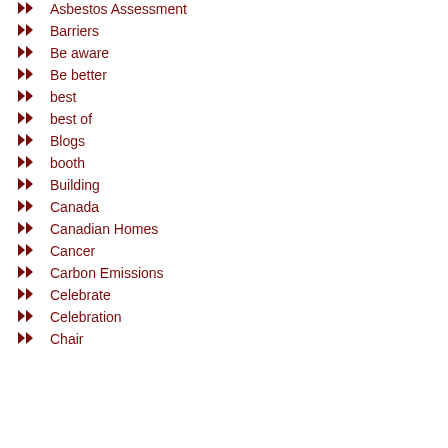Asbestos Assessment
Barriers
Be aware
Be better
best
best of
Blogs
booth
Building
Canada
Canadian Homes
Cancer
Carbon Emissions
Celebrate
Celebration
Chair